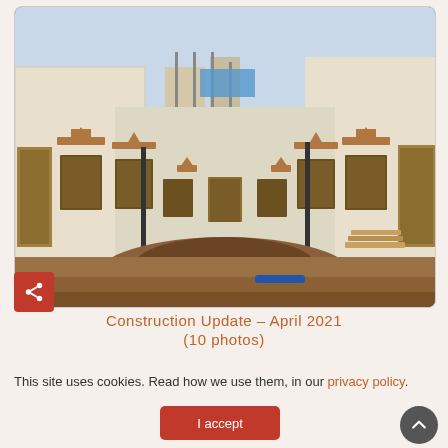[Figure (photo): Construction site courtyard photo showing whitewashed brick buildings on left and right, ornate terracotta window surrounds, wooden boarded doors, a mound of earth in the foreground, scaffolding and a blue-tarp covered structure in the background, overcast sky. April 2021 construction update.]
Construction Update – April 2021
(10 photos)
This site uses cookies. Read how we use them, in our privacy policy.
I accept